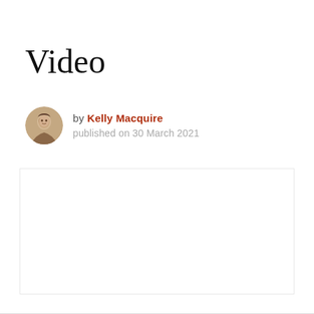Video
by Kelly Macquire
published on 30 March 2021